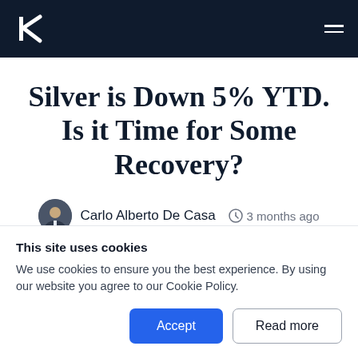Kinesis Money — navigation header with logo and hamburger menu
Silver is Down 5% YTD. Is it Time for Some Recovery?
Carlo Alberto De Casa  3 months ago
[Figure (photo): Partially visible blurred chart or image strip below the article header]
This site uses cookies
We use cookies to ensure you the best experience. By using our website you agree to our Cookie Policy.